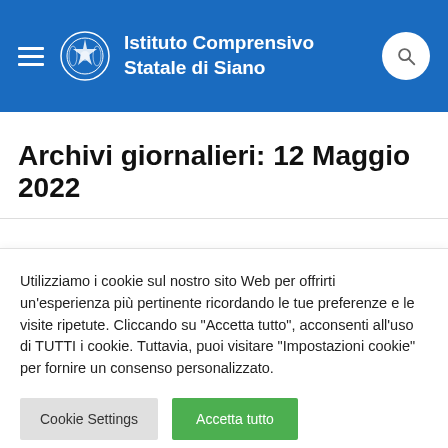Istituto Comprensivo Statale di Siano
Archivi giornalieri: 12 Maggio 2022
Utilizziamo i cookie sul nostro sito Web per offrirti un'esperienza più pertinente ricordando le tue preferenze e le visite ripetute. Cliccando su "Accetta tutto", acconsenti all'uso di TUTTI i cookie. Tuttavia, puoi visitare "Impostazioni cookie" per fornire un consenso personalizzato.